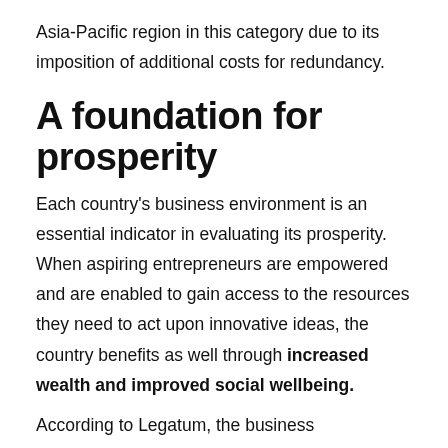Asia-Pacific region in this category due to its imposition of additional costs for redundancy.
A foundation for prosperity
Each country's business environment is an essential indicator in evaluating its prosperity. When aspiring entrepreneurs are empowered and are enabled to gain access to the resources they need to act upon innovative ideas, the country benefits as well through increased wealth and improved social wellbeing.
According to Legatum, the business environment is one of the nine pillars that has shown remarkable growth over the last ten years, increasing well above